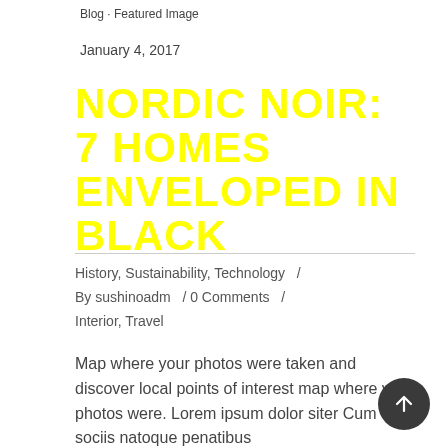Blog · Featured Image
January 4, 2017
NORDIC NOIR: 7 HOMES ENVELOPED IN BLACK
History, Sustainability, Technology  /  By sushinoadm  / 0 Comments  /  Interior, Travel
Map where your photos were taken and discover local points of interest map where your photos were. Lorem ipsum dolor siter Cum sociis natoque penatibus